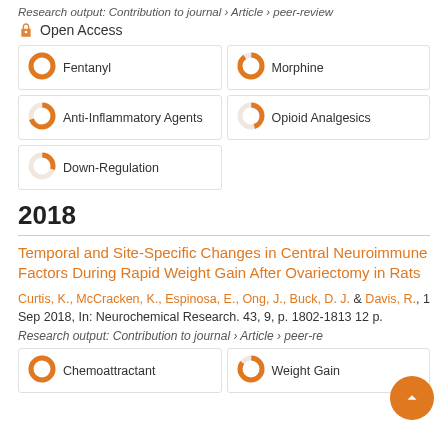Research output: Contribution to journal › Article › peer-review
Open Access
[Figure (infographic): Keyword badges with donut-style percentage indicators: Fentanyl (100%), Morphine (90%), Anti-Inflammatory Agents (70%), Opioid Analgesics (45%), Down-Regulation (30%)]
2018
Temporal and Site-Specific Changes in Central Neuroimmune Factors During Rapid Weight Gain After Ovariectomy in Rats
Curtis, K., McCracken, K., Espinosa, E., Ong, J., Buck, D. J. & Davis, R., 1 Sep 2018, In: Neurochemical Research. 43, 9, p. 1802-1813 12 p.
Research output: Contribution to journal › Article › peer-review
[Figure (infographic): Keyword badges: Chemoattractant (100%), Weight Gain (85%)]